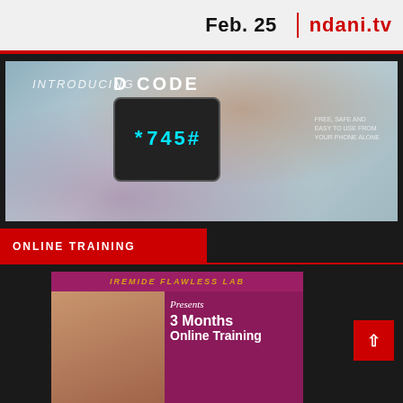[Figure (photo): Top banner with 'Feb. 25' text and ndani.tv logo on light background with red bottom border]
[Figure (photo): Advertisement image: man holding phone showing *745# code, with text 'INTRODUCING D CODE' overlay]
ONLINE TRAINING
[Figure (photo): Iremide Flawless Lab advertisement showing woman's face and text 'Presents 3 Months Online Training' on maroon background]
[Figure (other): Red scroll-to-top button with upward arrow]